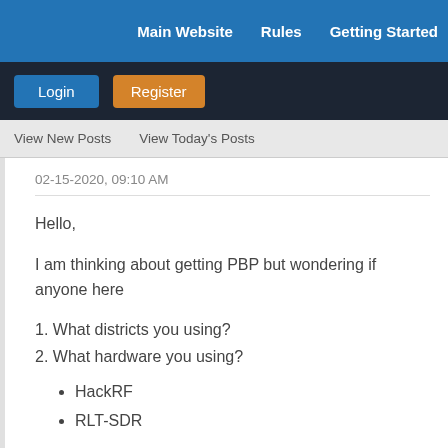Main Website   Rules   Getting Started
Login   Register
View New Posts   View Today's Posts
02-15-2020, 09:10 AM
Hello,

I am thinking about getting PBP but wondering if anyone here

1. What districts you using?
2. What hardware you using?

• HackRF
• RLT-SDR

3. Does GNU Radio works?
4. Any other software success stories?

Ch...